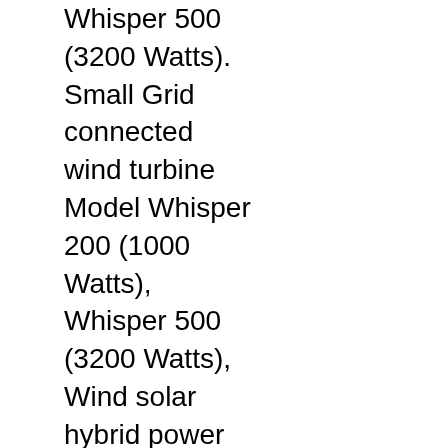Whisper 500 (3200 Watts). Small Grid connected wind turbine Model Whisper 200 (1000 Watts), Whisper 500 (3200 Watts), Wind solar hybrid power plants both off grid and on grid, Wind solar diesel off grid power plants, Wind Charge controllers & spar....
Service types: Project and systems design, engineering